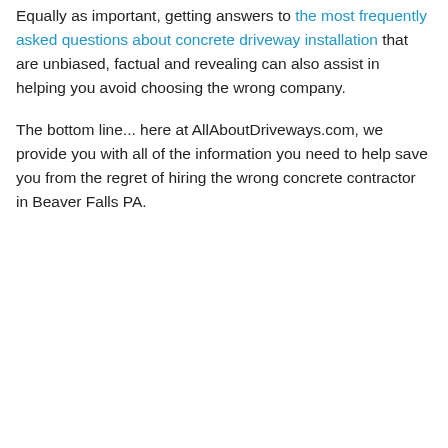Equally as important, getting answers to the most frequently asked questions about concrete driveway installation that are unbiased, factual and revealing can also assist in helping you avoid choosing the wrong company.
The bottom line... here at AllAboutDriveways.com, we provide you with all of the information you need to help save you from the regret of hiring the wrong concrete contractor in Beaver Falls PA.